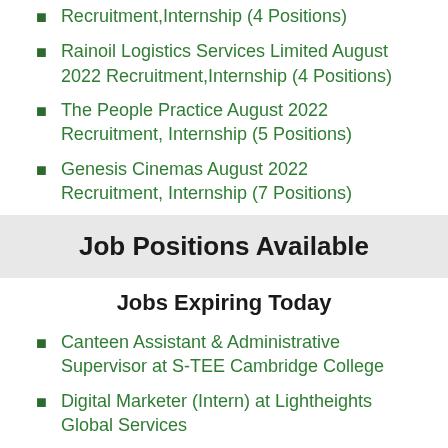Recruitment,Internship (4 Positions)
Rainoil Logistics Services Limited August 2022 Recruitment,Internship (4 Positions)
The People Practice August 2022 Recruitment, Internship (5 Positions)
Genesis Cinemas August 2022 Recruitment, Internship (7 Positions)
Job Positions Available
Jobs Expiring Today
Canteen Assistant & Administrative Supervisor at S-TEE Cambridge College
Digital Marketer (Intern) at Lightheights Global Services